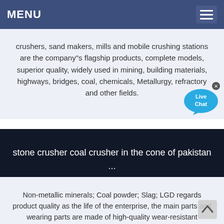MENU
crushers, sand makers, mills and mobile crushing stations are the company"s flagship products, complete models, superior quality, widely used in mining, building materials, highways, bridges, coal, chemicals, Metallurgy, refractory and other fields.
[Figure (illustration): Live Chat bubble icon with blue speech bubble and 'Live Chat' text, with a close (x) button]
stone crusher coal crusher in the cone of pakistan ...
Non-metallic minerals; Coal powder; Slag; LGD regards product quality as the life of the enterprise, the main parts and wearing parts are made of high-quality wear-resistant materials, coupled with advanced processing technology, the equipment to be durable."Customer-oriented", provides a full...
[Figure (illustration): Scroll-to-top arrow button (chevron up)]